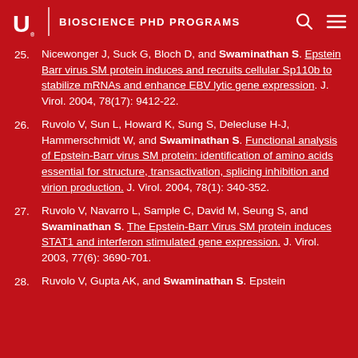BIOSCIENCE PHD PROGRAMS
25. Nicewonger J, Suck G, Bloch D, and Swaminathan S. Epstein Barr virus SM protein induces and recruits cellular Sp110b to stabilize mRNAs and enhance EBV lytic gene expression. J. Virol. 2004, 78(17): 9412-22.
26. Ruvolo V, Sun L, Howard K, Sung S, Delecluse H-J, Hammerschmidt W, and Swaminathan S. Functional analysis of Epstein-Barr virus SM protein: identification of amino acids essential for structure, transactivation, splicing inhibition and virion production. J. Virol. 2004, 78(1): 340-352.
27. Ruvolo V, Navarro L, Sample C, David M, Seung S, and Swaminathan S. The Epstein-Barr Virus SM protein induces STAT1 and interferon stimulated gene expression. J. Virol. 2003, 77(6): 3690-701.
28. Ruvolo V, Gupta AK, and Swaminathan S. Epstein...